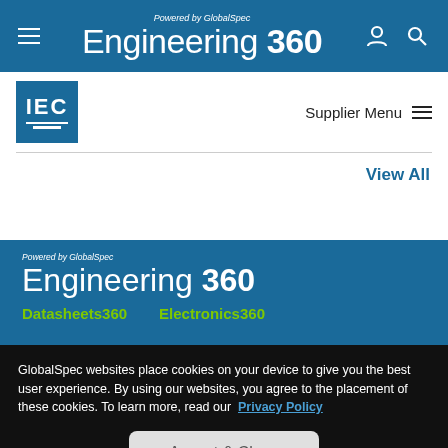Powered by GlobalSpec Engineering 360
[Figure (logo): IEC logo — blue square with IEC text and horizontal lines]
Supplier Menu
View All
[Figure (logo): Engineering 360 footer branding logo with Datasheets360 and Electronics360 links]
GlobalSpec websites place cookies on your device to give you the best user experience. By using our websites, you agree to the placement of these cookies. To learn more, read our Privacy Policy
Accept & Close